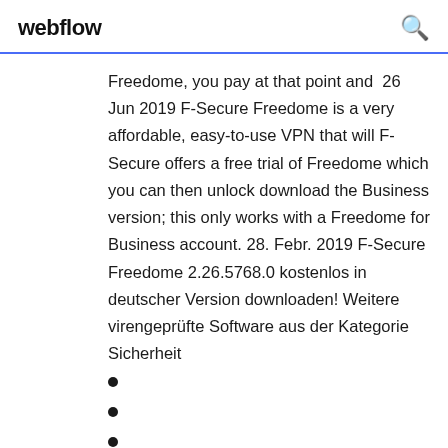webflow
Freedome, you pay at that point and  26 Jun 2019 F-Secure Freedome is a very affordable, easy-to-use VPN that will F-Secure offers a free trial of Freedome which you can then unlock download the Business version; this only works with a Freedome for Business account. 28. Febr. 2019 F-Secure Freedome 2.26.5768.0 kostenlos in deutscher Version downloaden! Weitere virengeprüfte Software aus der Kategorie Sicherheit